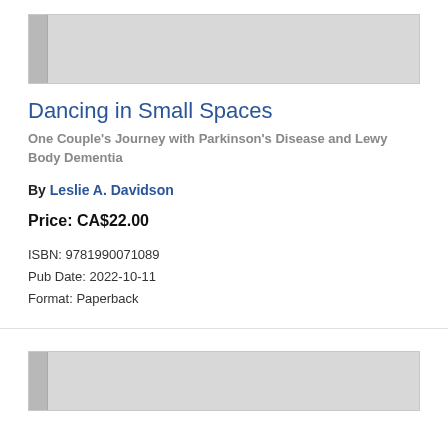[Figure (illustration): Book cover placeholder — gray rectangle with darker spine on left side]
Dancing in Small Spaces
One Couple's Journey with Parkinson's Disease and Lewy Body Dementia
By Leslie A. Davidson
Price: CA$22.00
ISBN: 9781990071089
Pub Date: 2022-10-11
Format: Paperback
[Figure (illustration): Book cover placeholder — gray rectangle with darker spine on left side (bottom of page, partially visible)]